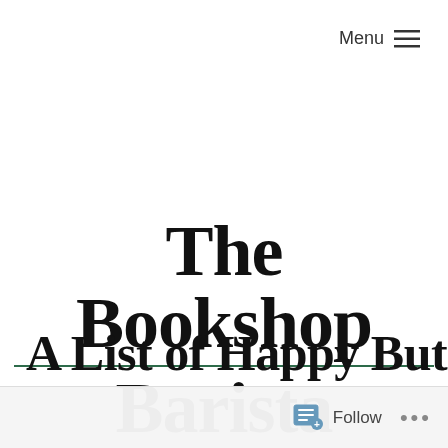Menu ≡
The Bookshop Barista
A List of Happy But
Follow ...